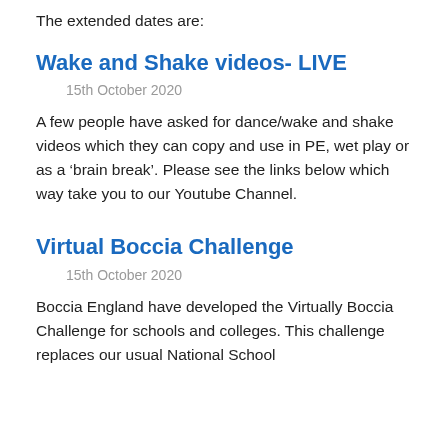The extended dates are:
Wake and Shake videos- LIVE
15th October 2020
A few people have asked for dance/wake and shake videos which they can copy and use in PE, wet play or as a ‘brain break’. Please see the links below which way take you to our Youtube Channel.
Virtual Boccia Challenge
15th October 2020
Boccia England have developed the Virtually Boccia Challenge for schools and colleges. This challenge replaces our usual National School